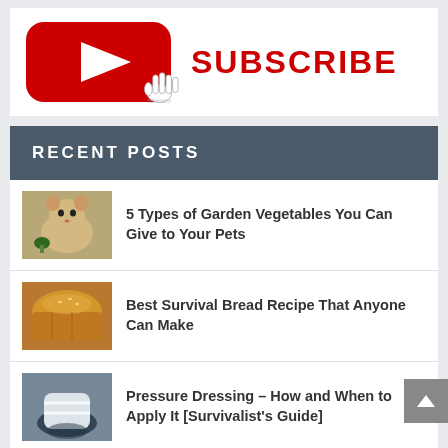[Figure (logo): YouTube subscribe button with red YouTube logo icon and a pointing hand cursor, with bold red SUBSCRIBE text]
RECENT POSTS
5 Types of Garden Vegetables You Can Give to Your Pets
Best Survival Bread Recipe That Anyone Can Make
Pressure Dressing – How and When to Apply It [Survivalist's Guide]
The Ultimate Guide to Pressure Canning...